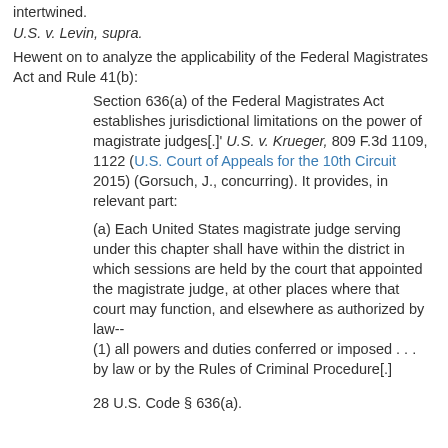intertwined.
U.S. v. Levin, supra.
Hewent on to analyze the applicability of the Federal Magistrates Act and Rule 41(b):
Section 636(a) of the Federal Magistrates Act establishes jurisdictional limitations on the power of magistrate judges[.]' U.S. v. Krueger, 809 F.3d 1109, 1122 (U.S. Court of Appeals for the 10th Circuit 2015) (Gorsuch, J., concurring). It provides, in relevant part:
(a) Each United States magistrate judge serving under this chapter shall have within the district in which sessions are held by the court that appointed the magistrate judge, at other places where that court may function, and elsewhere as authorized by law--
(1) all powers and duties conferred or imposed . . . by law or by the Rules of Criminal Procedure[.]
28 U.S. Code § 636(a).